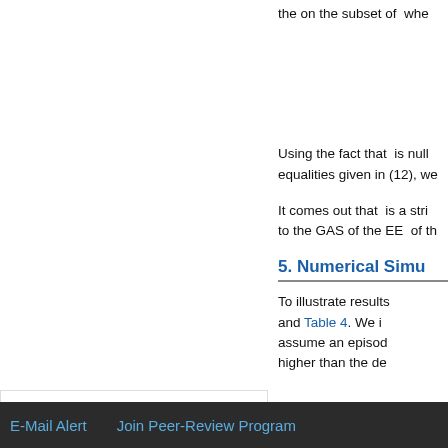the on the subset of  whe
Using the fact that  is null equalities given in (12), we
It comes out that  is a stri to the GAS of the EE  of th
Top
ABSTRACT
Introduction
Model Description and Mathematical Specification
Well-Posedness, Dissipativity and Equilibria of the System
5. Numerical Simu
To illustrate results and Table 4. We i assume an episod higher than the de
E-Mail Alert    Join Peer-Review Program